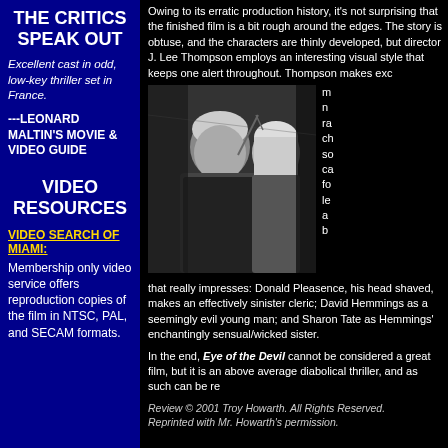THE CRITICS SPEAK OUT
Excellent cast in odd, low-key thriller set in France.
---LEONARD MALTIN'S MOVIE & VIDEO GUIDE
VIDEO RESOURCES
VIDEO SEARCH OF MIAMI:
Membership only video service offers reproduction copies of the film in NTSC, PAL, and SECAM formats.
Owing to its erratic production history, it's not surprising that the finished film is a bit rough around the edges. The story is obtuse, and the characters are thinly developed, but director J. Lee Thompson employs an interesting visual style that keeps one alert throughout. Thompson makes exc
[Figure (photo): Black and white photo of a man with light hair and a woman, appearing to be a still from a film.]
that really impresses: Donald Pleasence, his head shaved, makes an effectively sinister cleric; David Hemmings as a seemingly evil young man; and Sharon Tate as Hemmings' enchantingly sensual/wicked sister.
In the end, Eye of the Devil cannot be considered a great film, but it is an above average diabolical thriller, and as such can be re
Review © 2001 Troy Howarth. All Rights Reserved.
Reprinted with Mr. Howarth's permission.